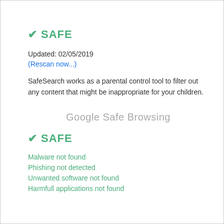✔ SAFE
Updated: 02/05/2019
(Rescan now...)
SafeSearch works as a parental control tool to filter out any content that might be inappropriate for your children.
Google Safe Browsing
✔ SAFE
Malware not found
Phishing not detected
Unwanted software not found
Harmfull applications not found